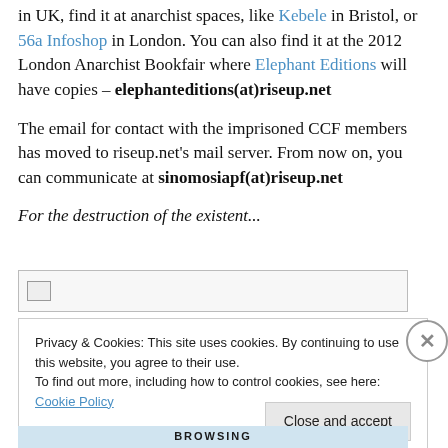in UK, find it at anarchist spaces, like Kebele in Bristol, or 56a Infoshop in London. You can also find it at the 2012 London Anarchist Bookfair where Elephant Editions will have copies – elephanteditions(at)riseup.net
The email for contact with the imprisoned CCF members has moved to riseup.net's mail server. From now on, you can communicate at sinomosiapf(at)riseup.net
For the destruction of the existent...
[Figure (other): Broken image placeholder with grey border]
Privacy & Cookies: This site uses cookies. By continuing to use this website, you agree to their use.
To find out more, including how to control cookies, see here: Cookie Policy
Close and accept
BROWSING